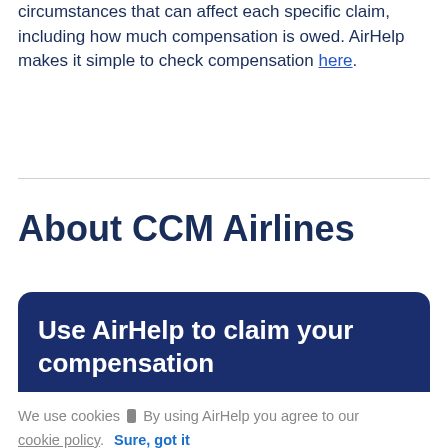As with any law, there are exceptions and special circumstances that can affect each specific claim, including how much compensation is owed. AirHelp makes it simple to check compensation here.
About CCM Airlines
Use AirHelp to claim your compensation
We use cookies  By using AirHelp you agree to our cookie policy.  Sure, got it